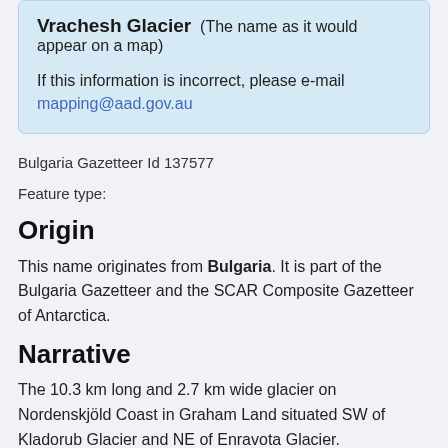Vrachesh Glacier (The name as it would appear on a map)

If this information is incorrect, please e-mail mapping@aad.gov.au
Bulgaria Gazetteer Id 137577
Feature type:
Origin
This name originates from Bulgaria. It is part of the Bulgaria Gazetteer and the SCAR Composite Gazetteer of Antarctica.
Narrative
The 10.3 km long and 2.7 km wide glacier on Nordenskjöld Coast in Graham Land situated SW of Kladorub Glacier and NE of Enravota Glacier.